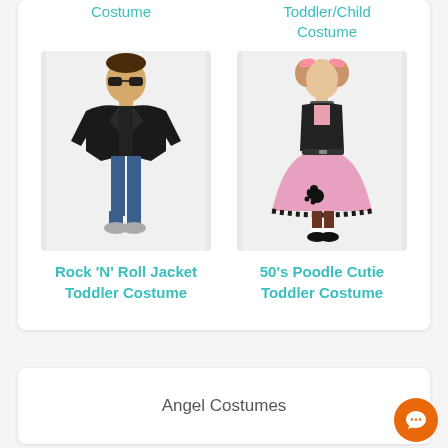Costume
Toddler/Child Costume
[Figure (photo): Young boy wearing a black leather rock and roll jacket with sunglasses and jeans]
[Figure (photo): Young girl wearing a 50s pink poodle skirt toddler costume with black top and hair accessories]
Rock 'N' Roll Jacket Toddler Costume
50's Poodle Cutie Toddler Costume
Angel Costumes